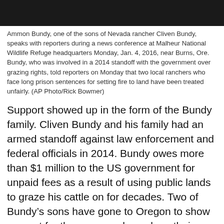[Figure (photo): Dark photograph of Ammon Bundy speaking at Malheur National Wildlife Refuge headquarters]
Ammon Bundy, one of the sons of Nevada rancher Cliven Bundy, speaks with reporters during a news conference at Malheur National Wildlife Refuge headquarters Monday, Jan. 4, 2016, near Burns, Ore. Bundy, who was involved in a 2014 standoff with the government over grazing rights, told reporters on Monday that two local ranchers who face long prison sentences for setting fire to land have been treated unfairly. (AP Photo/Rick Bowmer)
Support showed up in the form of the Bundy family. Cliven Bundy and his family had an armed standoff against law enforcement and federal officials in 2014. Bundy owes more than $1 million to the US government for unpaid fees as a result of using public lands to graze his cattle on for decades. Two of Bundy’s sons have gone to Oregon to show support for the group and speak on their behalf publicly.
Schools in Burns were canceled for a week due to concerns over the safety of students. A concern which is